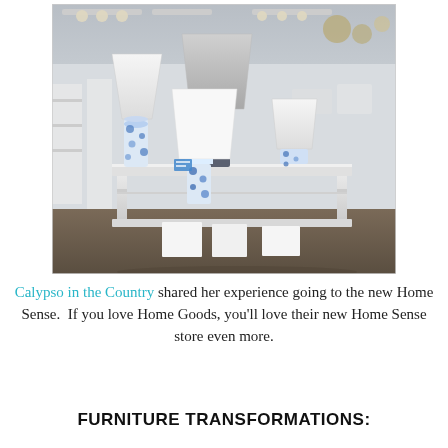[Figure (photo): Interior of a home goods store showing a display of table lamps on a white console shelf unit. Lamps include blue-and-white floral porcelain bases and a dark textured base, with white and gray shades. The store background shows more lighting fixtures and white furniture pieces.]
Calypso in the Country shared her experience going to the new Home Sense.  If you love Home Goods, you'll love their new Home Sense store even more.
FURNITURE TRANSFORMATIONS: